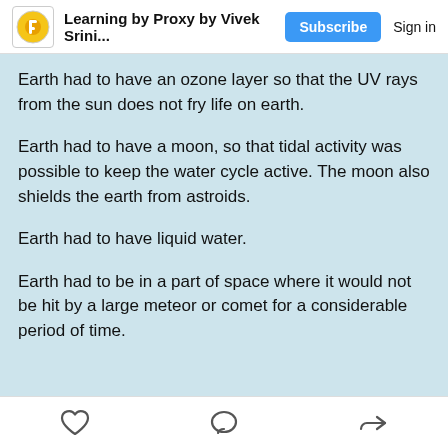Learning by Proxy by Vivek Srini...  Subscribe  Sign in
Earth had to have an ozone layer so that the UV rays from the sun does not fry life on earth.
Earth had to have a moon, so that tidal activity was possible to keep the water cycle active. The moon also shields the earth from astroids.
Earth had to have liquid water.
Earth had to be in a part of space where it would not be hit by a large meteor or comet for a considerable period of time.
heart icon, comment icon, share icon